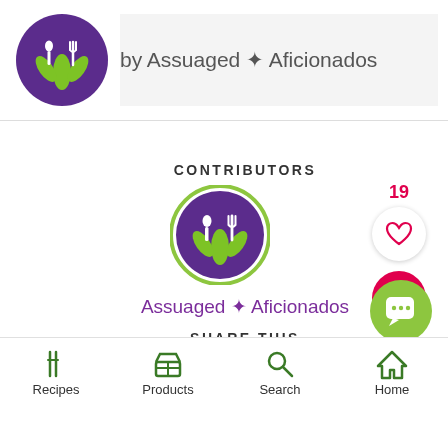[Figure (logo): Assuaged Aficionados circular logo - purple circle with white spoon, fork and green leaves]
by Assuaged ★ Aficionados
CONTRIBUTORS
[Figure (logo): Assuaged Aficionados circular logo - purple circle with white spoon, fork and green leaves, with green border ring]
Assuaged ★ Aficionados
SHARE THIS
[Figure (infographic): Social share icons row: Facebook, Twitter, Google+, LinkedIn, Pinterest, Reddit, Email]
Recipes  Products  Search  Home